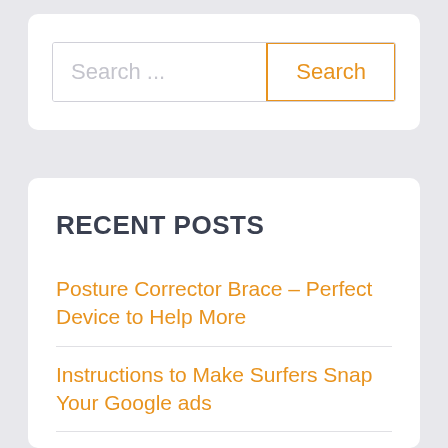Search ...
Search
RECENT POSTS
Posture Corrector Brace – Perfect Device to Help More
Instructions to Make Surfers Snap Your Google ads
Stainless Steel Garbage Cans Are Ideal For